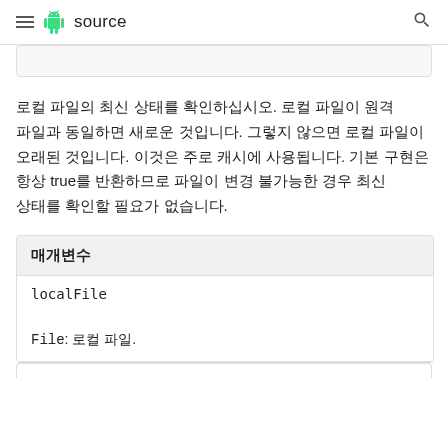≡ source 🔍
로컬 파일의 최신 상태를 확인하십시오. 로컬 파일이 원격 파일과 동일하면 새로운 것입니다. 그렇지 않으면 로컬 파일이 오래된 것입니다. 이것은 주로 캐시에 사용됩니다. 기본 구현은 항상 true를 반환하므로 파일이 변경 불가능한 경우 최신 상태를 확인할 필요가 없습니다.
| 매개변수 |
| --- |
| localFile | File: 로컬 파일. |